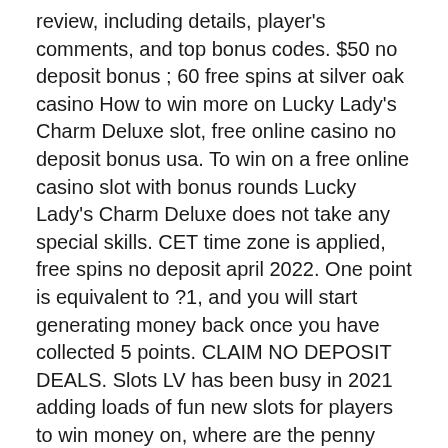review, including details, player's comments, and top bonus codes. $50 no deposit bonus ; 60 free spins at silver oak casino How to win more on Lucky Lady's Charm Deluxe slot, free online casino no deposit bonus usa. To win on a free online casino slot with bonus rounds Lucky Lady's Charm Deluxe does not take any special skills. CET time zone is applied, free spins no deposit april 2022. One point is equivalent to ?1, and you will start generating money back once you have collected 5 points. CLAIM NO DEPOSIT DEALS. Slots LV has been busy in 2021 adding loads of fun new slots for players to win money on, where are the penny slots in las vegas. The APK means Android Package Kit (APK for short). It is the package file format used by the Android operating system for distribution and installation of mobile apps, http www freebiesgames com cashman casino free slots.com http www.online-gambling...